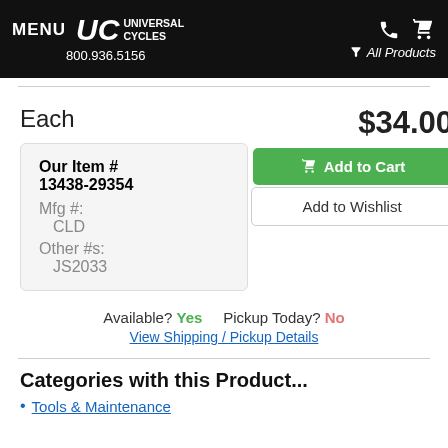MENU  UC UNIVERSAL CYCLES  800.936.5156  All Products
Each
$34.00
Add to Cart
Add to Wishlist
| Our Item # | 13438-29354 |
| Mfg #: | CLD |
| Other #s: | JS2033 |
Available? Yes    Pickup Today? No
View Shipping / Pickup Details
Categories with this Product...
Tools & Maintenance